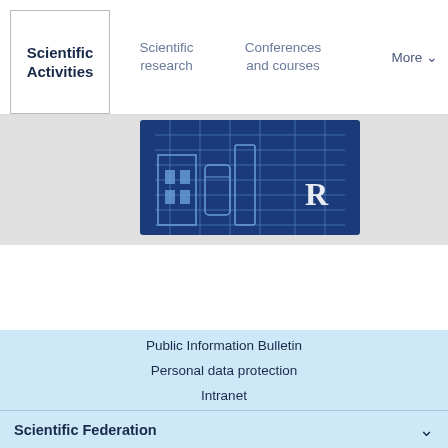Scientific Activities | Scientific research | Conferences and courses | More
[Figure (screenshot): A blue architectural/engineering blueprint image showing building schematics with a letter R logo, displayed as a website banner image strip.]
Public Information Bulletin
Personal data protection
Intranet
Scientific Federation